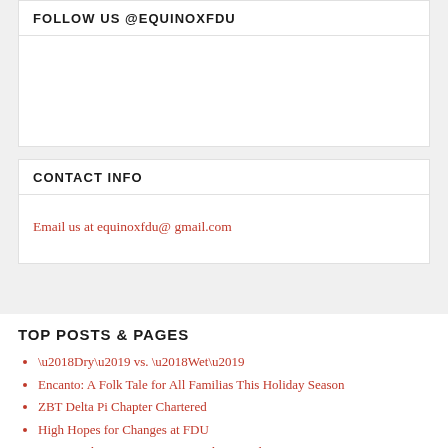FOLLOW US @EQUINOXFDU
CONTACT INFO
Email us at equinoxfdu@ gmail.com
TOP POSTS & PAGES
‘Dry’ vs. ‘Wet’
Encanto: A Folk Tale for All Familias This Holiday Season
ZBT Delta Pi Chapter Chartered
High Hopes for Changes at FDU
FDU Food Services: Separate and Unequal